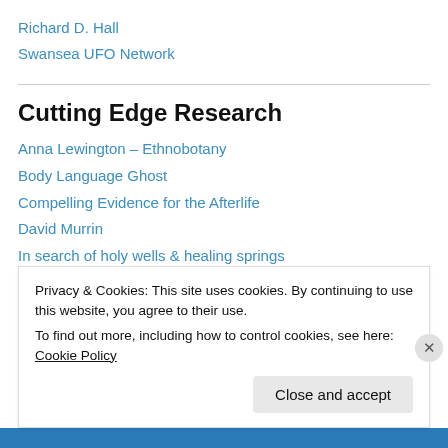Richard D. Hall
Swansea UFO Network
Cutting Edge Research
Anna Lewington – Ethnobotany
Body Language Ghost
Compelling Evidence for the Afterlife
David Murrin
In search of holy wells & healing springs
Michael Tsarion
Quest for the invisibles
Privacy & Cookies: This site uses cookies. By continuing to use this website, you agree to their use.
To find out more, including how to control cookies, see here: Cookie Policy
Close and accept